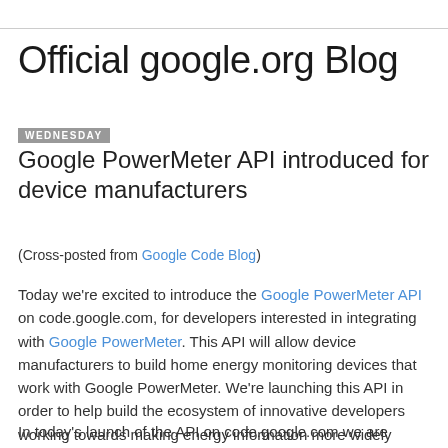Official google.org Blog
Wednesday
Google PowerMeter API introduced for device manufacturers
(Cross-posted from Google Code Blog)
Today we're excited to introduce the Google PowerMeter API on code.google.com, for developers interested in integrating with Google PowerMeter. This API will allow device manufacturers to build home energy monitoring devices that work with Google PowerMeter. We're launching this API in order to help build the ecosystem of innovative developers working towards making energy information more widely available to consumers.
In today's launch of the API on code.google.com we are